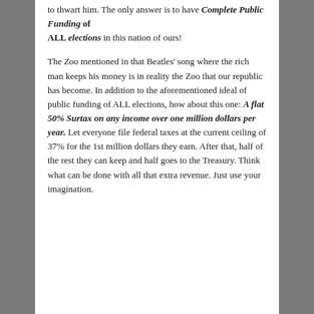to thwart him. The only answer is to have Complete Public Funding of ALL elections in this nation of ours!
The Zoo mentioned in that Beatles' song where the rich man keeps his money is in reality the Zoo that our republic has become. In addition to the aforementioned ideal of public funding of ALL elections, how about this one: A flat 50% Surtax on any income over one million dollars per year. Let everyone file federal taxes at the current ceiling of 37% for the 1st million dollars they earn. After that, half of the rest they can keep and half goes to the Treasury. Think what can be done with all that extra revenue. Just use your imagination.